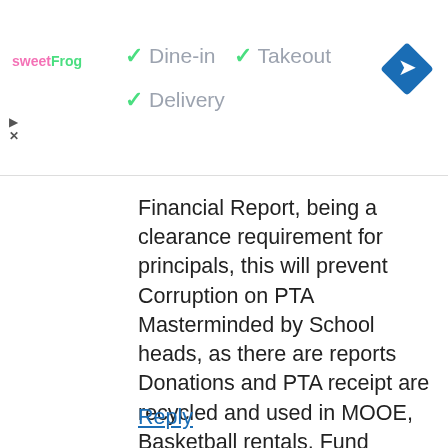[Figure (screenshot): Ad banner with sweetFrog logo, check marks for Dine-in, Takeout, Delivery options, and a blue diamond map direction icon]
Financial Report, being a clearance requirement for principals, this will prevent Corruption on PTA Masterminded by School heads, as there are reports Donations and PTA receipt are recycled and used in MOOE, Basketball rentals, Fund raisings of faculty and school heads using the PTA as Front. Abusing their jurisdiction over parents and students.
Reply